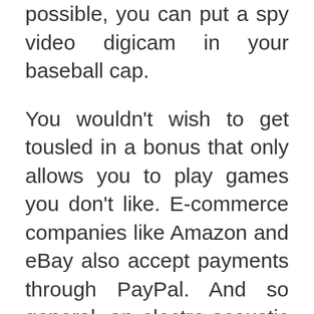possible, you can put a spy video digicam in your baseball cap.
You wouldn't wish to get tousled in a bonus that only allows you to play games you don't like. E-commerce companies like Amazon and eBay also accept payments through PayPal. And so general, an electro-acoustic guitar is named a favorite among the musicians for several good reasons. Not requiring a deposit makes the no deposit bonus stand out, but other than the good aspects, there are not-so-good elements. There's a distinction between games you